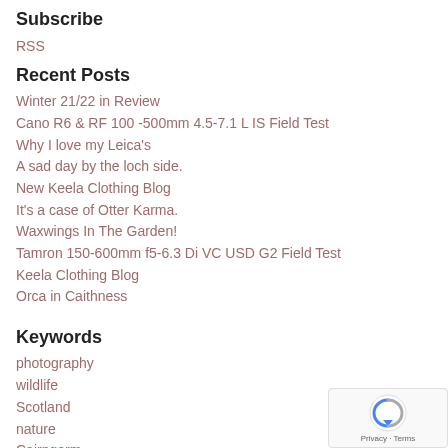Subscribe
RSS
Recent Posts
Winter 21/22 in Review
Cano R6 & RF 100 -500mm 4.5-7.1 L IS Field Test
Why I love my Leica's
A sad day by the loch side.
New Keela Clothing Blog
It's a case of Otter Karma.
Waxwings In The Garden!
Tamron 150-600mm f5-6.3 Di VC USD G2 Field Test
Keela Clothing Blog
Orca in Caithness
Keywords
photography
wildlife
Scotland
nature
Cairngorm
highland
Cairngorms